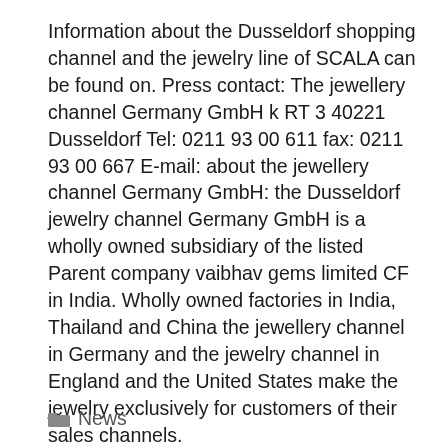Information about the Dusseldorf shopping channel and the jewelry line of SCALA can be found on. Press contact: The jewellery channel Germany GmbH k RT 3 40221 Dusseldorf Tel: 0211 93 00 611 fax: 0211 93 00 667 E-mail: about the jewellery channel Germany GmbH: the Dusseldorf jewelry channel Germany GmbH is a wholly owned subsidiary of the listed Parent company vaibhav gems limited CF in India. Wholly owned factories in India, Thailand and China the jewellery channel in Germany and the jewelry channel in England and the United States make the jewelry exclusively for customers of their sales channels.
News